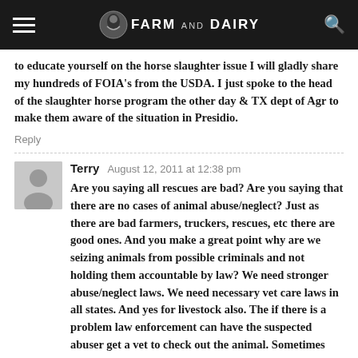Farm and Dairy
to educate yourself on the horse slaughter issue I will gladly share my hundreds of FOIA's from the USDA. I just spoke to the head of the slaughter horse program the other day & TX dept of Agr to make them aware of the situation in Presidio.
Reply
Terry  August 12, 2011 at 12:38 pm
Are you saying all rescues are bad? Are you saying that there are no cases of animal abuse/neglect? Just as there are bad farmers, truckers, rescues, etc there are good ones. And you make a great point why are we seizing animals from possible criminals and not holding them accountable by law? We need stronger abuse/neglect laws. We need necessary vet care laws in all states. And yes for livestock also. The if there is a problem law enforcement can have the suspected abuser get a vet to check out the animal. Sometimes